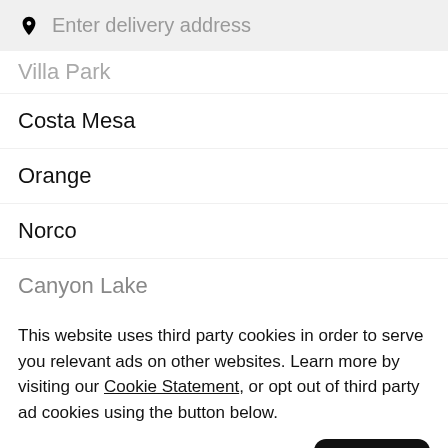Enter delivery address
Villa Park
Costa Mesa
Orange
Norco
Canyon Lake
This website uses third party cookies in order to serve you relevant ads on other websites. Learn more by visiting our Cookie Statement, or opt out of third party ad cookies using the button below.
Opt out
Got it